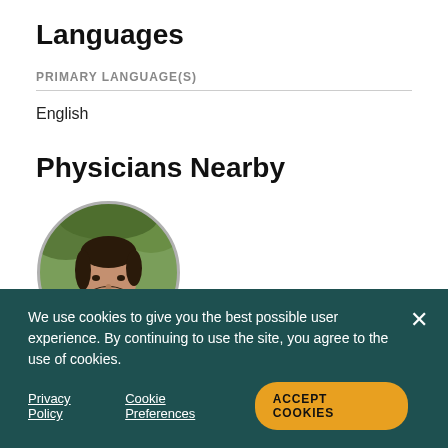Languages
PRIMARY LANGUAGE(S)
English
Physicians Nearby
[Figure (photo): Circular headshot of a male physician with beard, wearing a suit and tie, with green foliage in background]
Hospitalist
We use cookies to give you the best possible user experience. By continuing to use the site, you agree to the use of cookies.
Privacy Policy   Cookie Preferences   ACCEPT COOKIES